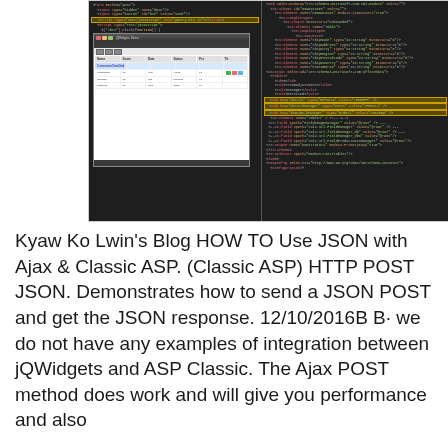[Figure (screenshot): Screenshot showing a code editor (left panel with dark background and colored syntax-highlighted XML/ASP code, with a highlighted box) and another code editor or IDE (right panel with similar colored code). An inner window showing a browser or application window with a data grid is overlaid on the left panel.]
Kyaw Ko Lwin's Blog HOW TO Use JSON with Ajax & Classic ASP. (Classic ASP) HTTP POST JSON. Demonstrates how to send a JSON POST and get the JSON response. 12/10/2016B B· we do not have any examples of integration between jQWidgets and ASP Classic. The Ajax POST method does work and will give you performance and also